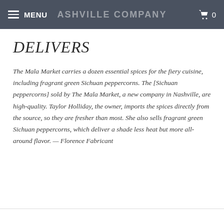MENU  ASHVILLE COMPANY  0
DELIVERS
The Mala Market carries a dozen essential spices for the fiery cuisine, including fragrant green Sichuan peppercorns. The [Sichuan peppercorns] sold by The Mala Market, a new company in Nashville, are high-quality. Taylor Holliday, the owner, imports the spices directly from the source, so they are fresher than most. She also sells fragrant green Sichuan peppercorns, which deliver a shade less heat but more all-around flavor. — Florence Fabricant